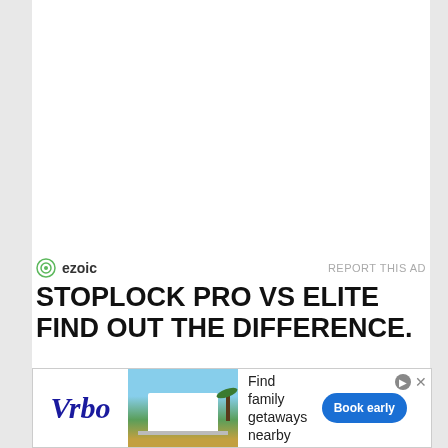[Figure (logo): Ezoic logo with green circular icon and text 'ezoic', followed by 'REPORT THIS AD' text in gray]
STOPLOCK PRO VS ELITE FIND OUT THE DIFFERENCE.
[Figure (photo): Black background image showing 'Stoplock Pro vs Elite Review' text in white serif font, with a yellow circle on left, website URL www.besteeringwheellock.com, and two Stoplock products (Pro and Pro Elite) with yellow handles at the bottom]
[Figure (photo): Vrbo advertisement banner showing logo, beach house image, 'Find family getaways nearby' text, and 'Book early' button]